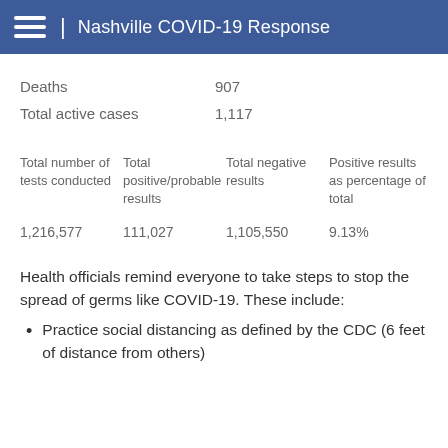Nashville COVID-19 Response
Deaths   907
Total active cases   1,117
| Total number of tests conducted | Total positive/probable results | Total negative results | Positive results as percentage of total |
| --- | --- | --- | --- |
| 1,216,577 | 111,027 | 1,105,550 | 9.13% |
Health officials remind everyone to take steps to stop the spread of germs like COVID-19. These include:
Practice social distancing as defined by the CDC (6 feet of distance from others)